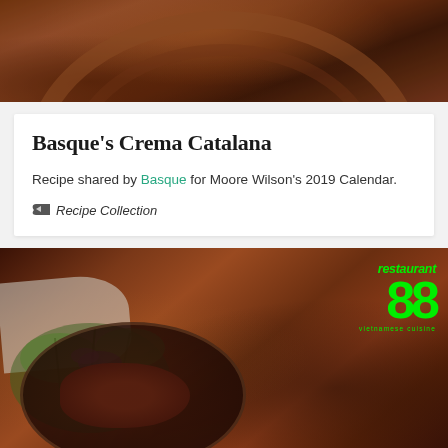[Figure (photo): Close-up photo of a wooden bowl or dark wooden surface with warm brown tones]
Basque's Crema Catalana
Recipe shared by Basque for Moore Wilson's 2019 Calendar.
Recipe Collection
[Figure (photo): Food photo showing a plated dish with greens/microgreens on a dark plate, with Restaurant 88 Vietnamese Cuisine logo overlay in bright green]